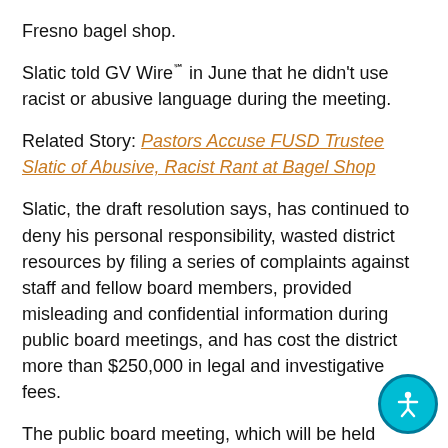Fresno bagel shop.
Slatic told GV Wire℠ in June that he didn't use racist or abusive language during the meeting.
Related Story: Pastors Accuse FUSD Trustee Slatic of Abusive, Racist Rant at Bagel Shop
Slatic, the draft resolution says, has continued to deny his personal responsibility, wasted district resources by filing a series of complaints against staff and fellow board members, provided misleading and confidential information during public board meetings, and has cost the district more than $250,000 in legal and investigative fees.
The public board meeting, which will be held virtually in a teleconference, can be viewed on the district's website and on Comcast Xfinity Channel 94 and AT&T U-Verse Channel 99.